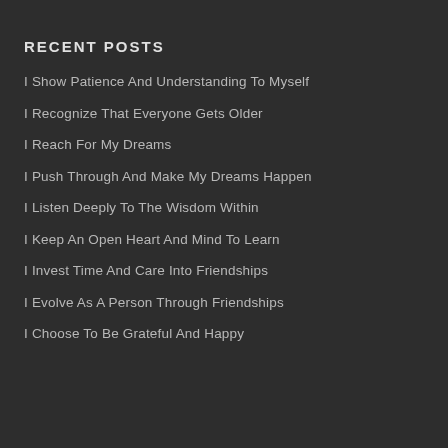RECENT POSTS
I Show Patience And Understanding To Myself
I Recognize That Everyone Gets Older
I Reach For My Dreams
I Push Through And Make My Dreams Happen
I Listen Deeply To The Wisdom Within
I Keep An Open Heart And Mind To Learn
I Invest Time And Care Into Friendships
I Evolve As A Person Through Friendships
I Choose To Be Grateful And Happy